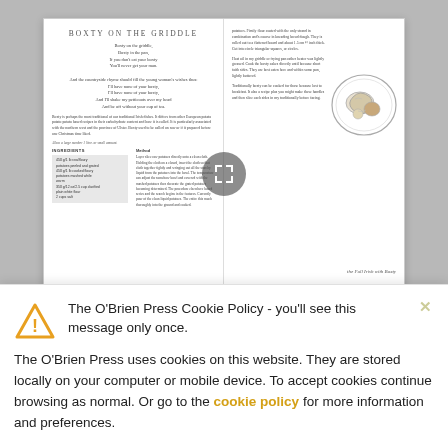[Figure (illustration): A book spread showing a recipe page for 'Boxty on the Griddle' with poem text, ingredients list, method, and a pencil sketch illustration of a plate with food. An expand/zoom icon overlay is centered on the spread.]
Ri... (heading partially visible below preview)
Al... by B... (also by, partially visible)
The O'Brien Press Cookie Policy - you'll see this message only once.
The O'Brien Press uses cookies on this website. They are stored locally on your computer or mobile device. To accept cookies continue browsing as normal. Or go to the cookie policy for more information and preferences.